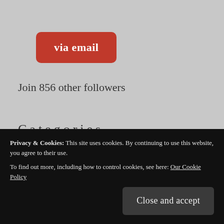[Figure (other): Red rounded button labeled 'via email']
Join 856 other followers
Categories
[Figure (other): Dropdown select box labeled 'Select Category' with a chevron arrow on the right]
Privacy & Cookies: This site uses cookies. By continuing to use this website, you agree to their use.
To find out more, including how to control cookies, see here: Our Cookie Policy
[Figure (other): Dark rounded button labeled 'Close and accept']